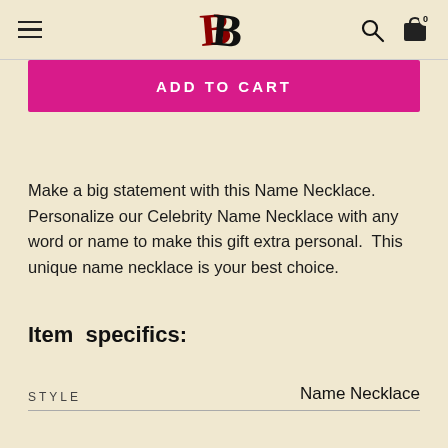BB [logo]
ADD TO CART
Make a big statement with this Name Necklace. Personalize our Celebrity Name Necklace with any word or name to make this gift extra personal.  This unique name necklace is your best choice.
Item specifics:
| STYLE |  |
| --- | --- |
| STYLE | Name Necklace |